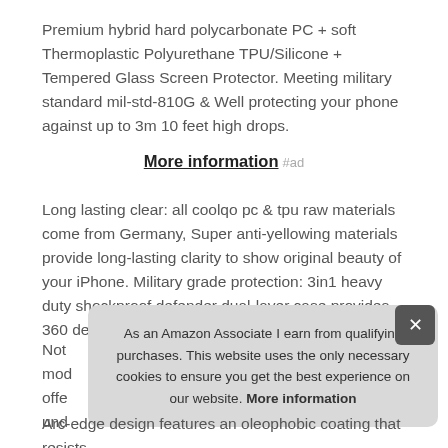Premium hybrid hard polycarbonate PC + soft Thermoplastic Polyurethane TPU/Silicone + Tempered Glass Screen Protector. Meeting military standard mil-std-810G & Well protecting your phone against up to 3m 10 feet high drops.
More information #ad
Long lasting clear: all coolqo pc & tpu raw materials come from Germany, Super anti-yellowing materials provide long-lasting clarity to show original beauty of your iPhone. Military grade protection: 3in1 heavy duty shockproof defender dual-layer case provides 360 degree full body coverage protection.
Not... mod... offe... und...
As an Amazon Associate I earn from qualifying purchases. This website uses the only necessary cookies to ensure you get the best experience on our website. More information
Arc-edge design features an oleophobic coating that resists...